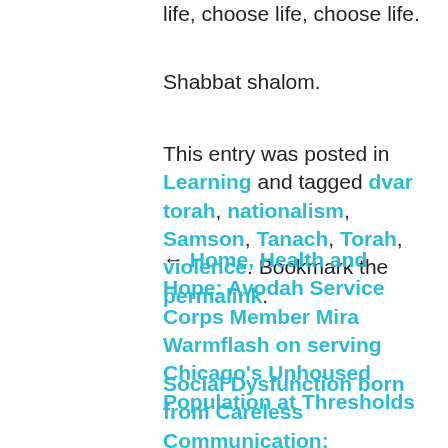life, choose life, choose life.
Shabbat shalom.
This entry was posted in Learning and tagged dvar torah, nationalism, Samson, Tanach, Torah, violence. Bookmark the permalink.
← Home, Health and Hope: Avodah Service Corps Member Mira Warmflash on serving Chicago's Unhoused Population at Thresholds
Social Dysfunction born from Careless Communication: Understanding Yitro's Departure — D'var Torah for Parashat BeHa'alotekha →